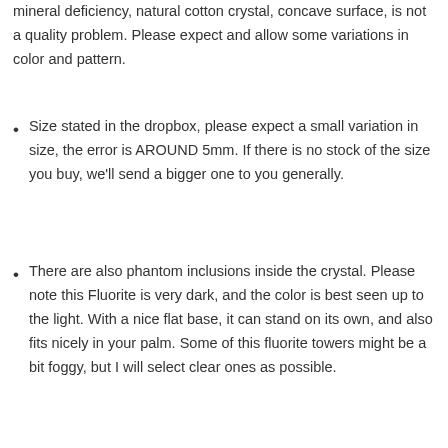mineral deficiency, natural cotton crystal, concave surface, is not a quality problem. Please expect and allow some variations in color and pattern.
Size stated in the dropbox, please expect a small variation in size, the error is AROUND 5mm. If there is no stock of the size you buy, we'll send a bigger one to you generally.
There are also phantom inclusions inside the crystal. Please note this Fluorite is very dark, and the color is best seen up to the light. With a nice flat base, it can stand on its own, and also fits nicely in your palm. Some of this fluorite towers might be a bit foggy, but I will select clear ones as possible.